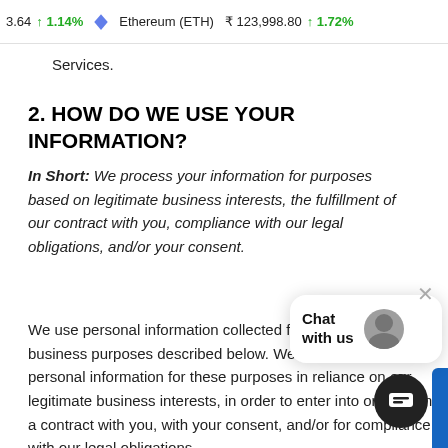3.64 ↑1.14% Ethereum (ETH) ₹ 123,998.80 ↑1.72%
Services.
2. HOW DO WE USE YOUR INFORMATION?
In Short: We process your information for purposes based on legitimate business interests, the fulfillment of our contract with you, compliance with our legal obligations, and/or your consent.
We use personal information collected for a variety of business purposes described below. We process your personal information for these purposes in reliance on our legitimate business interests, in order to enter into or perform a contract with you, with your consent, and/or for compliance with our legal obligations.